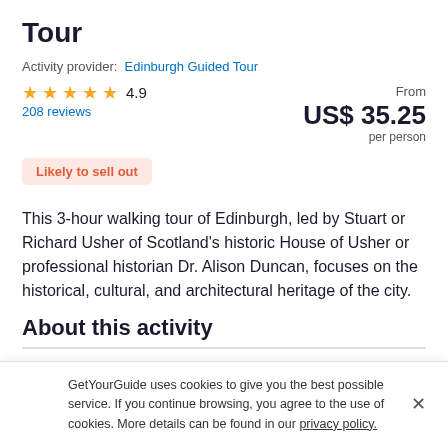Tour
Activity provider:  Edinburgh Guided Tour
★ ★ ★ ★ ★  4.9   From  US$ 35.25  per person
208 reviews
Likely to sell out
This 3-hour walking tour of Edinburgh, led by Stuart or Richard Usher of Scotland's historic House of Usher or professional historian Dr. Alison Duncan, focuses on the historical, cultural, and architectural heritage of the city.
About this activity
GetYourGuide uses cookies to give you the best possible service. If you continue browsing, you agree to the use of cookies. More details can be found in our privacy policy.